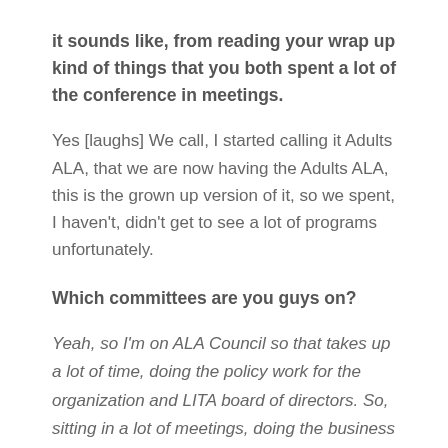it sounds like, from reading your wrap up kind of things that you both spent a lot of the conference in meetings.
Yes [laughs] We call, I started calling it Adults ALA, that we are now having the Adults ALA, this is the grown up version of it, so we spent, I haven't, didn't get to see a lot of programs unfortunately.
Which committees are you guys on?
Yeah, so I'm on ALA Council so that takes up a lot of time, doing the policy work for the organization and LITA board of directors. So, sitting in a lot of meetings, doing the business of library and integration technology association as well.